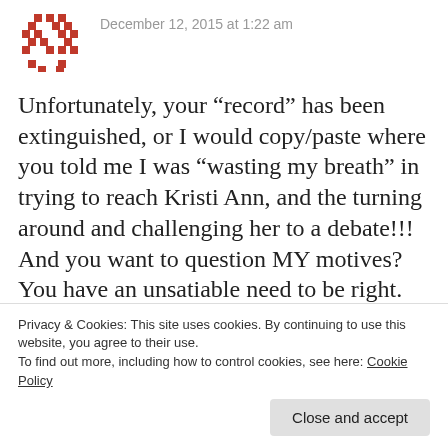[Figure (illustration): Red pixel-art decorative avatar icon with cross/diamond pattern]
December 12, 2015 at 1:22 am
Unfortunately, your “record” has been extinguished, or I would copy/paste where you told me I was “wasting my breath” in trying to reach Kristi Ann, and the turning around and challenging her to a debate!!! And you want to question MY motives? You have an unsatiable need to be right. You are FULL of YOURSELF, and you ARE your biggest fan, a legend in
Privacy & Cookies: This site uses cookies. By continuing to use this website, you agree to their use.
To find out more, including how to control cookies, see here: Cookie Policy
Close and accept